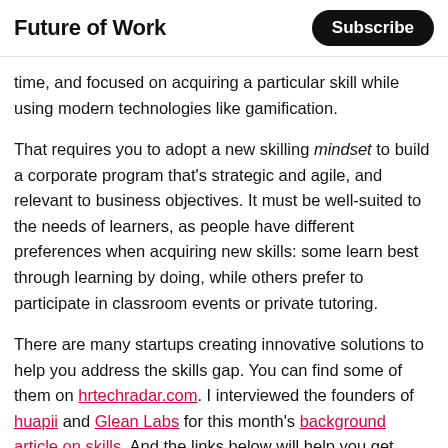Future of Work | Subscribe
time, and focused on acquiring a particular skill while using modern technologies like gamification.
That requires you to adopt a new skilling mindset to build a corporate program that's strategic and agile, and relevant to business objectives. It must be well-suited to the needs of learners, as people have different preferences when acquiring new skills: some learn best through learning by doing, while others prefer to participate in classroom events or private tutoring.
There are many startups creating innovative solutions to help you address the skills gap. You can find some of them on hrtechradar.com. I interviewed the founders of huapii and Glean Labs for this month's background article on skills. And the links below will help you get educated on the skills economy, so you know what to do!
Next month, the topic is payroll innovation. Please reach